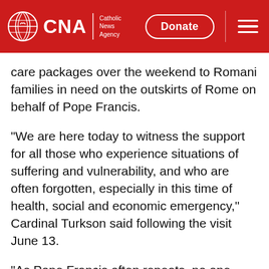CNA | Catholic News Agency — Donate
care packages over the weekend to Romani families in need on the outskirts of Rome on behalf of Pope Francis.
"We are here today to witness the support for all those who experience situations of suffering and vulnerability, and who are often forgotten, especially in this time of health, social and economic emergency," Cardinal Turkson said following the visit June 13.
"As Pope Francis often repeats, no one should be left behind," he said.
Cardinal Turkson, prefect of the Dicastery for